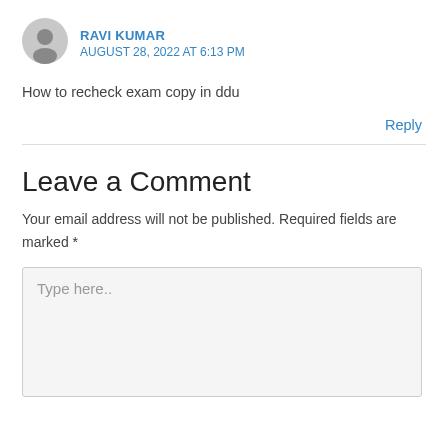[Figure (illustration): Gray circular user avatar icon]
RAVI KUMAR
AUGUST 28, 2022 AT 6:13 PM
How to recheck exam copy in ddu
Reply
Leave a Comment
Your email address will not be published. Required fields are marked *
Type here..